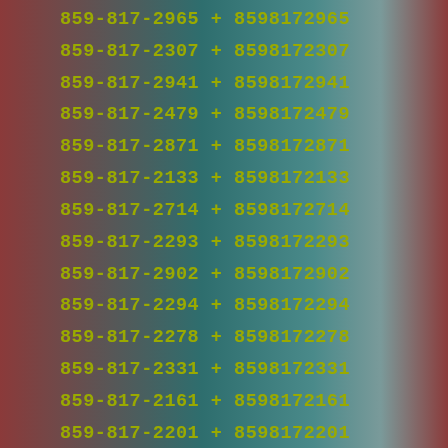859-817-2965 + 8598172965
859-817-2307 + 8598172307
859-817-2941 + 8598172941
859-817-2479 + 8598172479
859-817-2871 + 8598172871
859-817-2133 + 8598172133
859-817-2714 + 8598172714
859-817-2293 + 8598172293
859-817-2902 + 8598172902
859-817-2294 + 8598172294
859-817-2278 + 8598172278
859-817-2331 + 8598172331
859-817-2161 + 8598172161
859-817-2201 + 8598172201
859-817-2547 + 8598172547
859-817-2757 + 8598172757
859-817-2314 + 8598172314
859-817-2399 + 8598172399
859-817-2349 + 8598172349
859-817-2817 + 8598172817
859-817-2579 + 8598172579
859-817-2896 + 8598172896
859-817-2390 + 8598172390